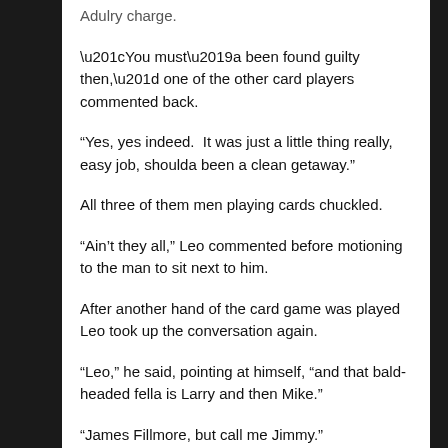Adulry charge.
“You must’a been found guilty then,” one of the other card players commented back.
“Yes, yes indeed.  It was just a little thing really, easy job, shoulda been a clean getaway.”
All three of them men playing cards chuckled.
“Ain’t they all,” Leo commented before motioning to the man to sit next to him.
After another hand of the card game was played Leo took up the conversation again.
“Leo,” he said, pointing at himself, “and that bald-headed fella is Larry and then Mike.”
“James Fillmore, but call me Jimmy.”
“Where you come from originally?” Mike asked.